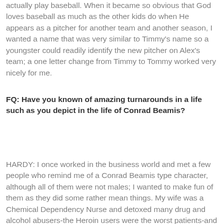actually play baseball. When it became so obvious that God loves baseball as much as the other kids do when He appears as a pitcher for another team and another season, I wanted a name that was very similar to Timmy's name so a youngster could readily identify the new pitcher on Alex's team; a one letter change from Timmy to Tommy worked very nicely for me.
FQ: Have you known of amazing turnarounds in a life such as you depict in the life of Conrad Beamis?
HARDY: I once worked in the business world and met a few people who remind me of a Conrad Beamis type character, although all of them were not males; I wanted to make fun of them as they did some rather mean things. My wife was a Chemical Dependency Nurse and detoxed many drug and alcohol abusers-the Heroin users were the worst patients-and although I never knew their names I knew their turn-around stories.